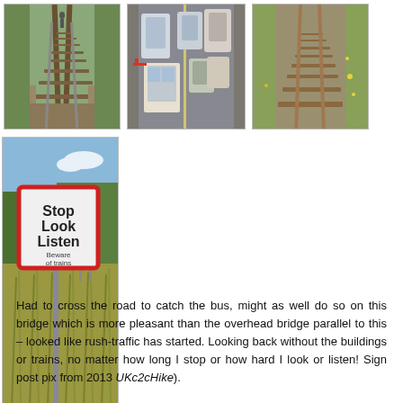[Figure (photo): Three photos in a row at top: left shows railway tracks receding into green vegetation, center shows overhead view of road traffic with cars and a bus, right shows rusty railway tracks receding through green grass]
[Figure (photo): Photo of a railway crossing sign reading 'Stop Look Listen Beware of trains' next to railway tracks with tall grass]
Had to cross the road to catch the bus, might as well do so on this bridge which is more pleasant than the overhead bridge parallel to this – looked like rush-traffic has started. Looking back without the buildings or trains, no matter how long I stop or how hard I look or listen! Sign post pix from 2013 UKc2cHike).